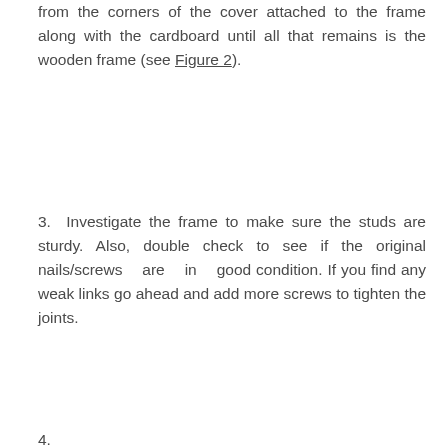from the corners of the cover attached to the frame along with the cardboard until all that remains is the wooden frame (see Figure 2).
3. Investigate the frame to make sure the studs are sturdy. Also, double check to see if the original nails/screws are in good condition. If you find any weak links go ahead and add more screws to tighten the joints.
4. ...